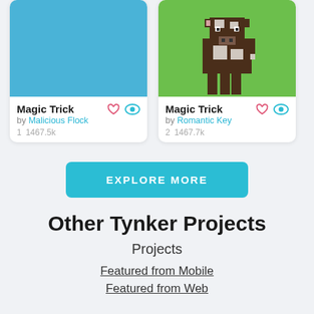[Figure (screenshot): Card with blue background thumbnail for Magic Trick project by Malicious Flock, showing 1 like and 1467.5k views]
[Figure (screenshot): Card with Minecraft cow on green background thumbnail for Magic Trick project by Romantic Key, showing 2 likes and 1467.7k views]
EXPLORE MORE
Other Tynker Projects
Projects
Featured from Mobile
Featured from Web